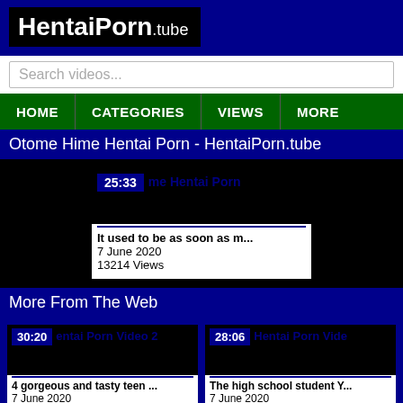HentaiPorn.tube
Search videos...
HOME | CATEGORIES | VIEWS | MORE
Otome Hime Hentai Porn - HentaiPorn.tube
[Figure (screenshot): Video thumbnail showing 25:33 duration badge and title 'me Hentai Porn']
It used to be as soon as m...
7 June 2020
13214 Views
More From The Web
[Figure (screenshot): Video thumbnail 30:20 - entai Porn Video 2]
4 gorgeous and tasty teen ...
7 June 2020
5365 Views
[Figure (screenshot): Video thumbnail 28:06 - Hentai Porn Vide]
The high school student Y...
7 June 2020
10447 Views
[Figure (screenshot): Video thumbnail 29:11 - entai Porn Video 1]
Somewhere in the fantasy ...
7 June 2020
10700 Views
[Figure (screenshot): Video thumbnail 29:46 - udaku Mamire]
The elder brother of the cu...
7 June 2020
8073 Views